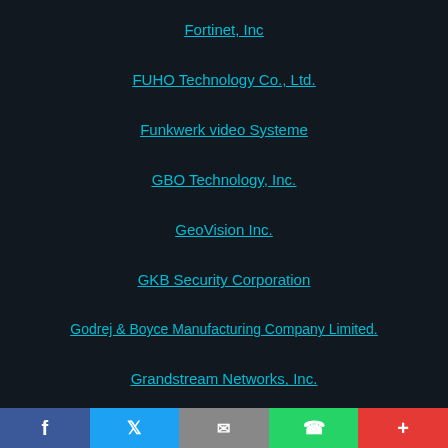Fortinet, Inc
FUHO Technology Co., Ltd.
Funkwerk video Systeme
GBO Technology, Inc.
GeoVision Inc.
GKB Security Corporation
Godrej & Boyce Manufacturing Company Limited.
Grandstream Networks, Inc.